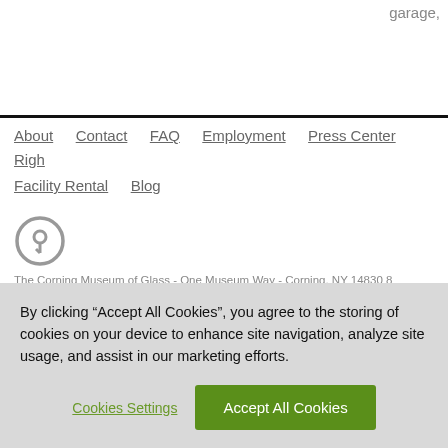garage,
About  Contact  FAQ  Employment  Press Center  Right  Facility Rental  Blog
[Figure (logo): Open icon / logo circle with key symbol]
The Corning Museum of Glass - One Museum Way - Corning, NY 14830 8
© 2002 - Corning Museum of Glass. All Rights Reserved.  Privacy Policy | T
By clicking “Accept All Cookies”, you agree to the storing of cookies on your device to enhance site navigation, analyze site usage, and assist in our marketing efforts.
Cookies Settings  Accept All Cookies